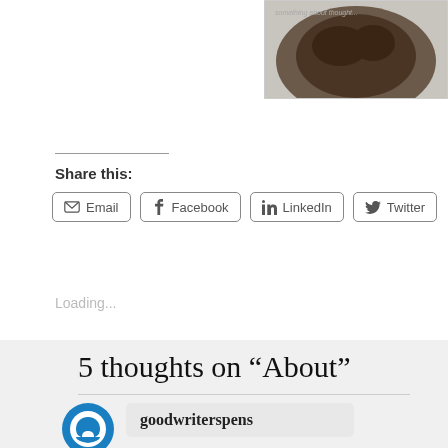[Figure (photo): Partial circular image of a dark animal (possibly a dog or bear) visible at top right corner of the page]
Share this:
Email   Facebook   LinkedIn   Twitter
Loading...
5 thoughts on “About”
[Figure (logo): Blue circular logo icon for goodwriterspens user avatar]
goodwriterspens